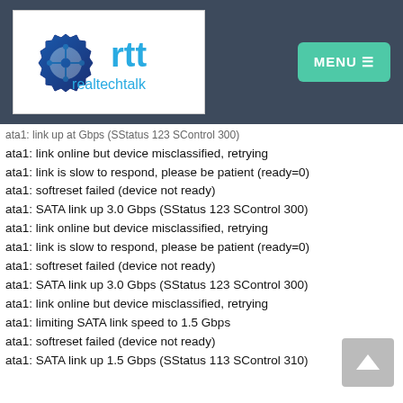[Figure (logo): realtechtalk logo with gear/circuit icon and 'rtt realtechtalk' text]
MENU ≡
ata1: link up at Gbps (SStatus 123 SControl 300)
ata1: link online but device misclassified, retrying
ata1: link is slow to respond, please be patient (ready=0)
ata1: softreset failed (device not ready)
ata1: SATA link up 3.0 Gbps (SStatus 123 SControl 300)
ata1: link online but device misclassified, retrying
ata1: link is slow to respond, please be patient (ready=0)
ata1: softreset failed (device not ready)
ata1: SATA link up 3.0 Gbps (SStatus 123 SControl 300)
ata1: link online but device misclassified, retrying
ata1: limiting SATA link speed to 1.5 Gbps
ata1: softreset failed (device not ready)
ata1: SATA link up 1.5 Gbps (SStatus 113 SControl 310)